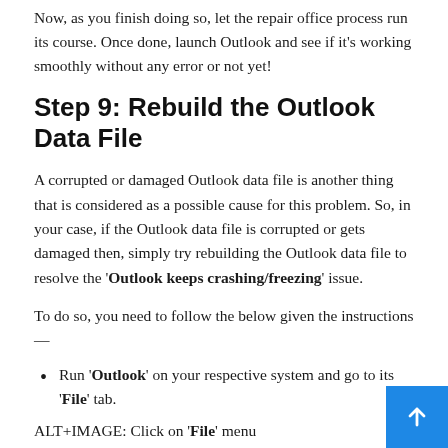Now, as you finish doing so, let the repair office process run its course. Once done, launch Outlook and see if it's working smoothly without any error or not yet!
Step 9: Rebuild the Outlook Data File
A corrupted or damaged Outlook data file is another thing that is considered as a possible cause for this problem. So, in your case, if the Outlook data file is corrupted or gets damaged then, simply try rebuilding the Outlook data file to resolve the 'Outlook keeps crashing/freezing' issue.
To do so, you need to follow the below given the instructions —
Run 'Outlook' on your respective system and go to its 'File' tab.
ALT+IMAGE: Click on 'File' menu